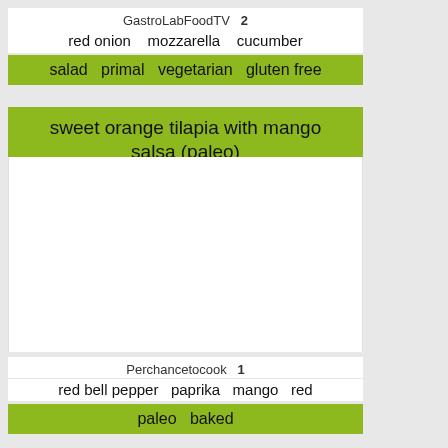GastroLabFoodTV  2
red onion   mozzarella   cucumber
salad   primal   vegetarian   gluten free
sweet orange tilapia with mango salsa (paleo)
Perchancetocook   1
red bell pepper   paprika   mango   red
paleo   baked